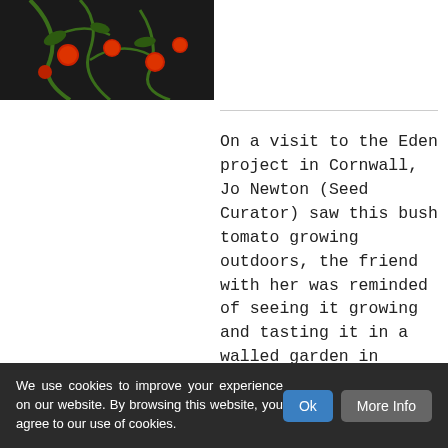[Figure (photo): Photo of tomato plant with red tomatoes and green stems/leaves, dark background]
On a visit to the Eden project in Cornwall, Jo Newton (Seed Curator) saw this bush tomato growing outdoors, the friend with her was reminded of seeing it growing and tasting it in a walled garden in Brighton when she was a child and remembered the name it being quite unusual. Jo liberated a couple of fruit and we have since sown and grown the crop. A sprawly bush that gives a huge amount of scarlet, juicy fruit small, medium, mild fresh
flavour, worth that picking and... Estate to Essex (now... managed by English heritage) and...
We use cookies to improve your experience on our website. By browsing this website, you agree to our use of cookies.